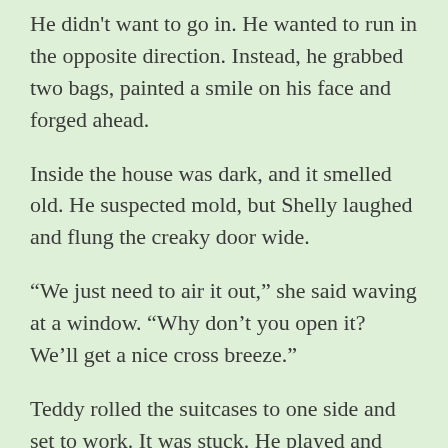He didn't want to go in. He wanted to run in the opposite direction. Instead, he grabbed two bags, painted a smile on his face and forged ahead.
Inside the house was dark, and it smelled old. He suspected mold, but Shelly laughed and flung the creaky door wide.
“We just need to air it out,” she said waving at a window. “Why don’t you open it? We’ll get a nice cross breeze.”
Teddy rolled the suitcases to one side and set to work. It was stuck. He played and pushed and wiggled and the casement squeaked in protest. A man’s image stared back at him as he thrust his palm hard against the top of the frame. Startled, he heard a sickening crack. The old pane gave way under the pressure and his hand slipped